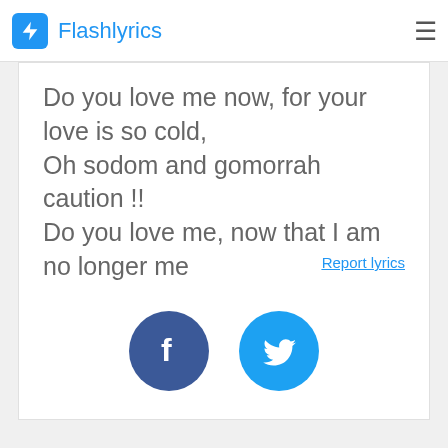Flashlyrics
Do you love me now, for your love is so cold,
Oh sodom and gomorrah caution !!
Do you love me, now that I am no longer me
Report lyrics
[Figure (logo): Facebook and Twitter share buttons]